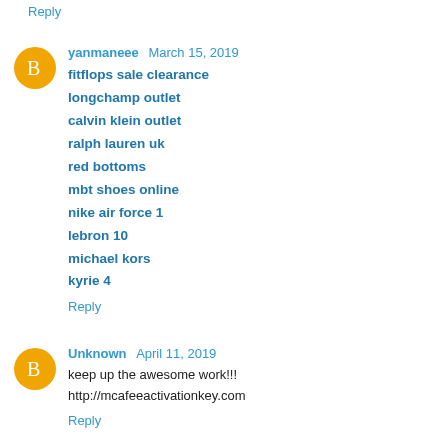Reply
yanmaneee  March 15, 2019
fitflops sale clearance
longchamp outlet
calvin klein outlet
ralph lauren uk
red bottoms
mbt shoes online
nike air force 1
lebron 10
michael kors
kyrie 4
Reply
Unknown  April 11, 2019
keep up the awesome work!!!
http://mcafeeactivationkey.com
Reply